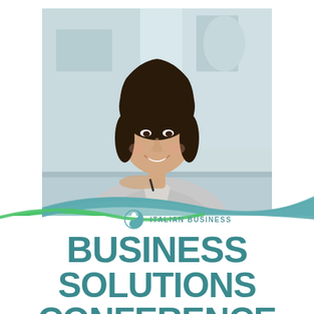[Figure (photo): Professional businesswoman in grey blazer smiling at camera, seated at a desk in a bright office environment]
[Figure (logo): Italian Business logo: teal swirl/yin-yang style icon with text 'ITALIAN BUSINESS' in teal caps]
BUSINESS SOLUTIONS CONFERENCE